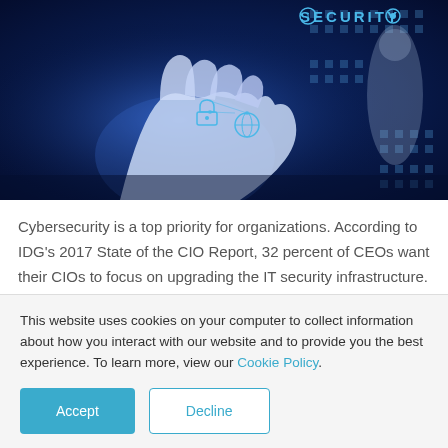[Figure (photo): A hand touching a digital security interface with glowing icons and the word SECURITY visible in blue, cybersecurity themed banner image]
Cybersecurity is a top priority for organizations. According to IDG’s 2017 State of the CIO Report, 32 percent of CEOs want their CIOs to focus on upgrading the IT security infrastructure. That’s the same number that are wanting their CIOs to help drive revenue growth. What’s more, 51
This website uses cookies on your computer to collect information about how you interact with our website and to provide you the best experience. To learn more, view our Cookie Policy.